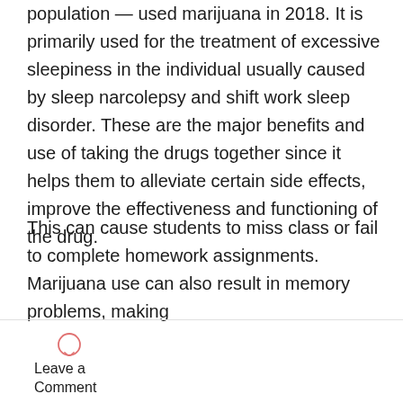population — used marijuana in 2018. It is primarily used for the treatment of excessive sleepiness in the individual usually caused by sleep narcolepsy and shift work sleep disorder. These are the major benefits and use of taking the drugs together since it helps them to alleviate certain side effects, improve the effectiveness and functioning of the drug.
This can cause students to miss class or fail to complete homework assignments. Marijuana use can also result in memory problems, making
[Figure (illustration): Speech bubble / comment icon]
Leave a Comment